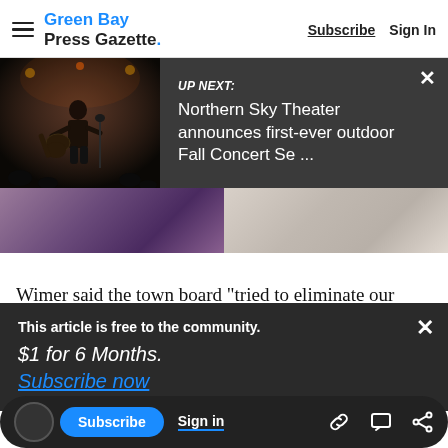Green Bay Press Gazette. Subscribe Sign In
[Figure (screenshot): UP NEXT banner with thumbnail of performer playing guitar on stage. Text reads: 'UP NEXT: Northern Sky Theater announces first-ever outdoor Fall Concert Se ...']
[Figure (photo): Article image strip showing two partial photos side by side]
Wimer said the town board "tried to eliminate our case" by passing a new ordinance that limits
This article is free to the community. $1 for 6 Months. Subscribe now
stricts food trucks but not brick-and-mortar
Subscribe  Sign in